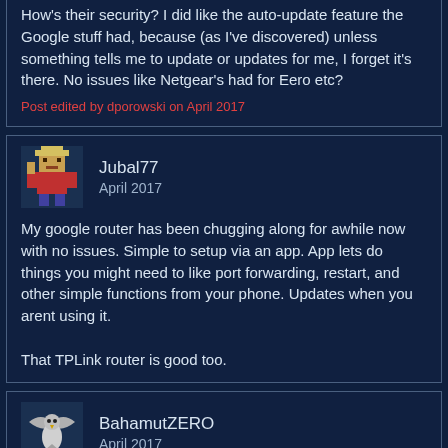How's their security? I did like the auto-update feature the Google stuff had, because (as I've discovered) unless something tells me to update or updates for me, I forget it's there. No issues like Netgear's had for Eero etc?
Post edited by dporowski on April 2017
Jubal77
April 2017
My google router has been chugging along for awhile now with no issues. Simple to setup via an app. App lets do things you might need to like port forwarding, restart, and other simple functions from your phone. Updates when you arent using it.

That TPLink router is good too.
BahamutZERO
April 2017